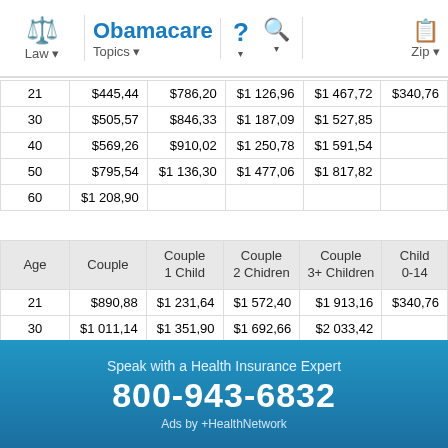Obamacare | Law | Topics | Zip
| Age | Single | Couple | Couple 1 Child | Couple 2 Children | Couple 3+ Children | Child 0-14 |
| --- | --- | --- | --- | --- | --- | --- |
| 21 | $445,44 | $786,20 | $1 126,96 | $1 467,72 | $340,76 |
| 30 | $505,57 | $846,33 | $1 187,09 | $1 527,85 |  |
| 40 | $569,26 | $910,02 | $1 250,78 | $1 591,54 |  |
| 50 | $795,54 | $1 136,30 | $1 477,06 | $1 817,82 |  |
| 60 | $1 208,90 |  |  |  |  |
| Age | Couple | Couple 1 Child | Couple 2 Chidren | Couple 3+ Children | Child 0-14 |
| --- | --- | --- | --- | --- | --- |
| 21 | $890,88 | $1 231,64 | $1 572,40 | $1 913,16 | $340,76 |
| 30 | $1 011,14 | $1 351,90 | $1 692,66 | $2 033,42 |  |
| 40 | $1 138,52 | $1 479,28 | $1 820,04 | $2 160,80 |  |
| 50 | $1 591,08 | $1 931,84 | $2 272,60 | $2 613,36 |  |
| 60 | $2 417,80 |  |  |  |  |
Speak with a Health Insurance Expert
800-943-6832
Ads by +HealthNetwork